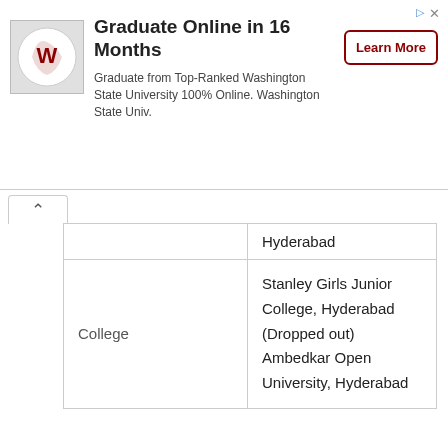[Figure (infographic): Advertisement banner: WSU logo, 'Graduate Online in 16 Months', text about Washington State University, and a 'Learn More' button]
|  | Hyderabad |
| College | Stanley Girls Junior College, Hyderabad (Dropped out) Ambedkar Open University, Hyderabad |
Dia Mirza Career
Profession: Actress, Model
Debut: